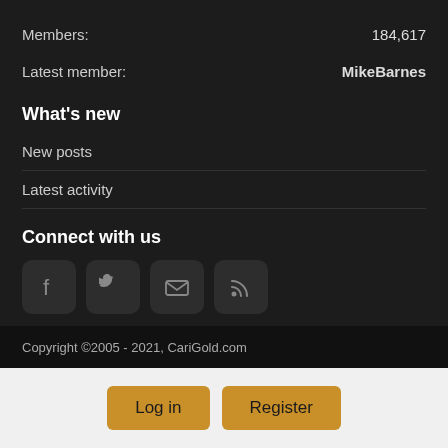Members: 184,617
Latest member: MikeBarnes
What's new
New posts
Latest activity
Connect with us
[Figure (other): Social media icons: Facebook, Twitter, Email, RSS feed]
Copyright ©2005 - 2021, CariGold.com
Log in   Register